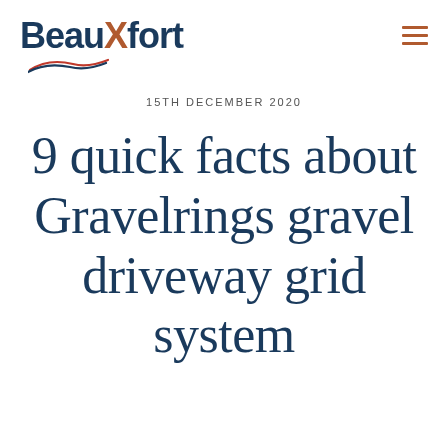Beauxfort
15TH DECEMBER 2020
9 quick facts about Gravelrings gravel driveway grid system